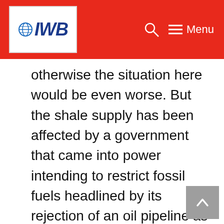IWB — Menu
otherwise the situation here would be even worse. But the shale supply has been affected by a government that came into power intending to restrict fossil fuels headlined by its rejection of an oil pipeline as a headline policy. Although the situation remains a strength as shown below it is also impacting the US.
Henry Hub futures are now trading at roughly a third of the price for the European